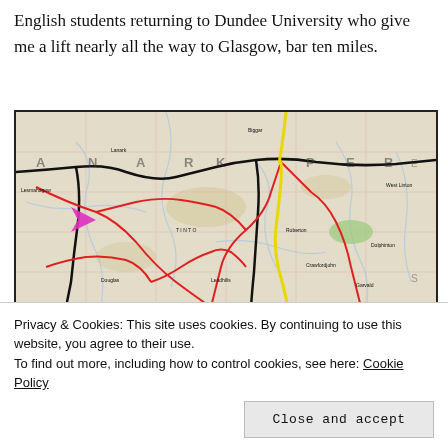English students returning to Dundee University who give me a lift nearly all the way to Glasgow, bar ten miles.
[Figure (map): Ordnance Survey style road map showing the Lanark/Peeblesshire area of Scotland, with roads highlighted in red and yellow, and a pink arrow marker on the left side of the map.]
Privacy & Cookies: This site uses cookies. By continuing to use this website, you agree to their use.
To find out more, including how to control cookies, see here: Cookie Policy